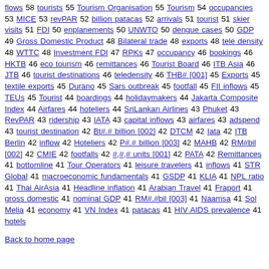flows 58 tourists 55 Tourism Organisation 55 Tourism 54 occupancies 53 MICE 53 revPAR 52 billion patacas 52 arrivals 51 tourist 51 skier visits 51 FDI 50 enplanements 50 UNWTO 50 dengue cases 50 GDP 49 Gross Domestic Product 48 Bilateral trade 48 exports 48 tele density 48 WTTC 48 Investment FDI 47 RPKs 47 occupancy 46 bookings 46 HKTB 46 eco tourism 46 remittances 46 Tourist Board 46 ITB Asia 46 JTB 46 tourist destinations 46 teledensity 46 THB# [001] 45 Exports 45 textile exports 45 Durano 45 Sars outbreak 45 footfall 45 FII inflows 45 TEUs 45 Tourist 44 boardings 44 holidaymakers 44 Jakarta Composite Index 44 Airfares 44 hoteliers 44 SriLankan Airlines 43 Phuket 43 RevPAR 43 ridership 43 IATA 43 capital inflows 43 airfares 43 adspend 43 tourist destination 42 Bt#.# billion [002] 42 DTCM 42 Iata 42 ITB Berlin 42 inflow 42 Hoteliers 42 P#.# billion [003] 42 MAHB 42 RM#bil [002] 42 CMIE 42 footfalls 42 #,#,# units [001] 42 PATA 42 Remittances 41 bottomline 41 Tour Operators 41 leisure travelers 41 inflows 41 STR Global 41 macroeconomic fundamentals 41 GSDP 41 KLIA 41 NPL ratio 41 Thai AirAsia 41 Headline inflation 41 Arabian Travel 41 Fraport 41 gross domestic 41 nominal GDP 41 RM#.#bil [003] 41 Naamsa 41 Sol Melia 41 economy 41 VN Index 41 patacas 41 HIV AIDS prevalence 41 hotels
Back to home page